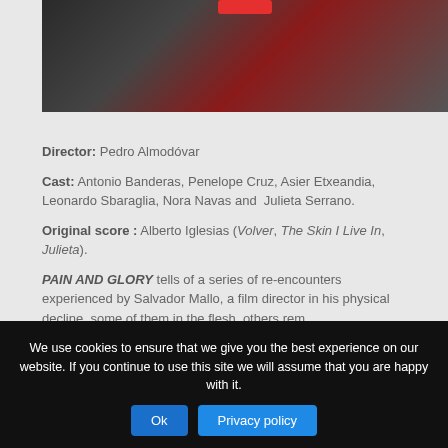[Figure (photo): Film still showing two people — one in a black leather jacket and one in a dark red/burgundy suit — standing in what appears to be a bathroom or tiled room setting. A red bar/logo is visible at the top center of the image.]
Director: Pedro Almodóvar
Cast: Antonio Banderas, Penelope Cruz, Asier Etxeandia, Leonardo Sbaraglia, Nora Navas and Julieta Serrano.
Original score : Alberto Iglesias (Volver, The Skin I Live In, Julieta).
PAIN AND GLORY tells of a series of re-encounters experienced by Salvador Mallo, a film director in his physical decline, some of them in the flesh, others remembered childhood in the 60s...
We use cookies to ensure that we give you the best experience on our website. If you continue to use this site we will assume that you are happy with it.
Ok
Privacy policy